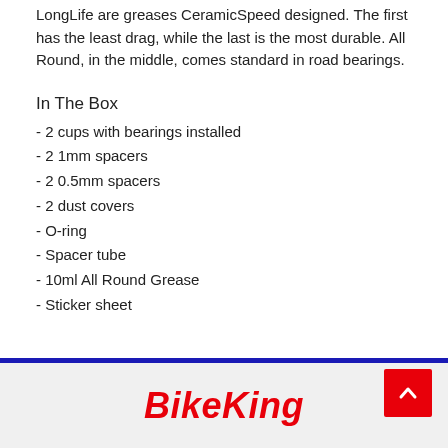LongLife are greases CeramicSpeed designed. The first has the least drag, while the last is the most durable. All Round, in the middle, comes standard in road bearings.
In The Box
- 2 cups with bearings installed
- 2 1mm spacers
- 2 0.5mm spacers
- 2 dust covers
- O-ring
- Spacer tube
- 10ml All Round Grease
- Sticker sheet
BikeKing